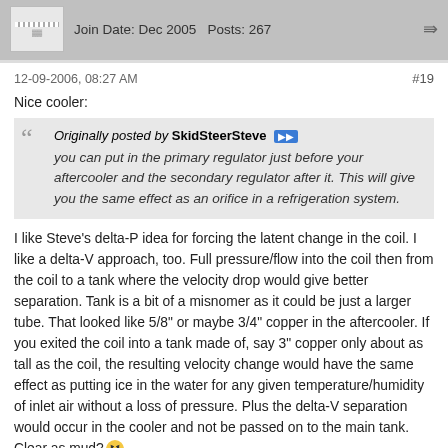Join Date: Dec 2005   Posts: 267
12-09-2006, 08:27 AM   #19
Nice cooler:
Originally posted by SkidSteerSteve [>>] you can put in the primary regulator just before your aftercooler and the secondary regulator after it. This will give you the same effect as an orifice in a refrigeration system.
I like Steve's delta-P idea for forcing the latent change in the coil. I like a delta-V approach, too. Full pressure/flow into the coil then from the coil to a tank where the velocity drop would give better separation. Tank is a bit of a misnomer as it could be just a larger tube. That looked like 5/8" or maybe 3/4" copper in the aftercooler. If you exited the coil into a tank made of, say 3" copper only about as tall as the coil, the resulting velocity change would have the same effect as putting ice in the water for any given temperature/humidity of inlet air without a loss of pressure. Plus the delta-V separation would occur in the cooler and not be passed on to the main tank. Clear as mud?
Triggerman
Ammonia refrigeration tech